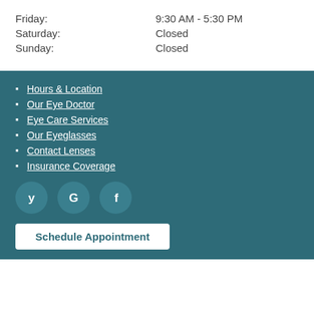Friday: 9:30 AM - 5:30 PM
Saturday: Closed
Sunday: Closed
Hours & Location
Our Eye Doctor
Eye Care Services
Our Eyeglasses
Contact Lenses
Insurance Coverage
[Figure (illustration): Three social media icons: Yelp, Google, and Facebook, displayed as white symbols on teal circular backgrounds]
Schedule Appointment